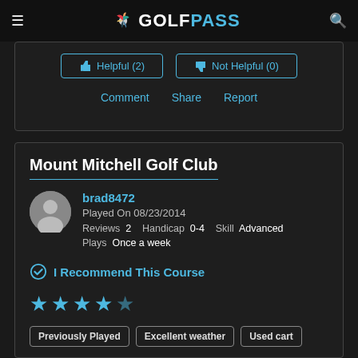GOLFPASS
[Figure (screenshot): Helpful (2) and Not Helpful (0) buttons with Comment, Share, Report links]
Mount Mitchell Golf Club
brad8472
Played On 08/23/2014
Reviews 2   Handicap 0-4   Skill Advanced
Plays Once a week
I Recommend This Course
★★★★★
Previously Played
Excellent weather
Used cart
A Must.